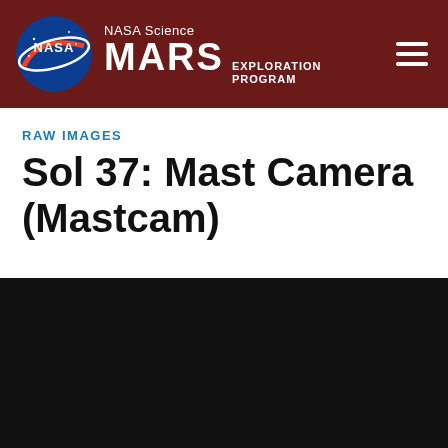NASA Science MARS EXPLORATION PROGRAM
RAW IMAGES
Sol 37: Mast Camera (Mastcam)
[Figure (photo): Dark/nearly black raw camera image from the Mastcam instrument on Mars, Sol 37]